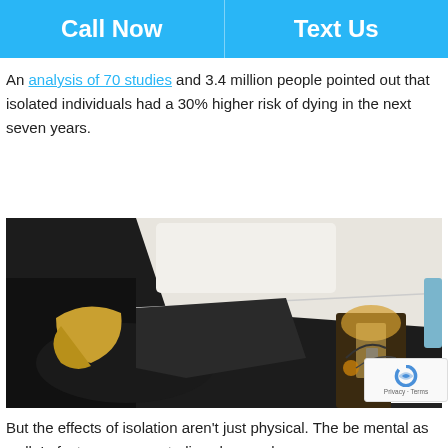Call Now | Text Us
An analysis of 70 studies and 3.4 million people pointed out that isolated individuals had a 30% higher risk of dying in the next seven years.
[Figure (photo): A person lying in bed alone in a dark room, viewed from above, with a cluttered nightstand and lamp visible to the right.]
But the effects of isolation aren't just physical. The can be mental as well. In fact, numerous studies show a close